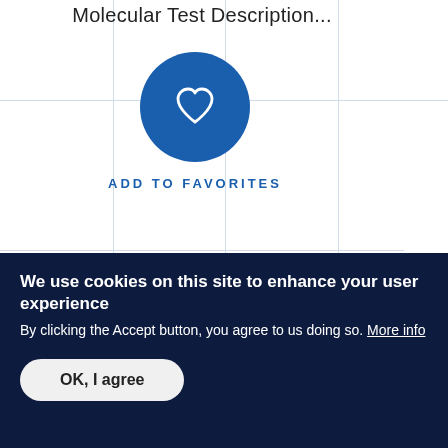Molecular Test Description...
[Figure (illustration): Blue circle with white heart icon - Add to Favorites button]
ADD TO FAVORITES
PD-L1 22C3 FDA (KEYTRUDA®) for
Contact Us
We use cookies on this site to enhance your user experience
By clicking the Accept button, you agree to us doing so. More info
OK, I agree